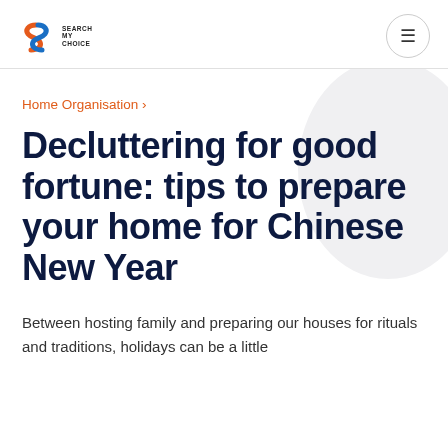Search My Choice [logo] [menu button]
Home Organisation ›
Decluttering for good fortune: tips to prepare your home for Chinese New Year
Between hosting family and preparing our houses for rituals and traditions, holidays can be a little